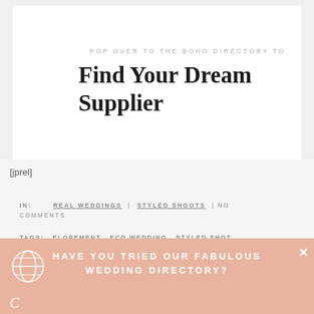POP OVER TO THE BOHO DIRECTORY TO
Find Your Dream Supplier
[jprel]
IN:  REAL WEDDINGS | STYLED SHOOTS | NO COMMENTS
TAGS: ELOPEMENT, ECO WEDDING, STYLED SHOT, ELOPEMENT INSPIRATION, ELOPEMENT IDEAS, GREENERY, ECO EARTH DAY
HAVE YOU TRIED OUR FABULOUS WEDDING DIRECTORY?